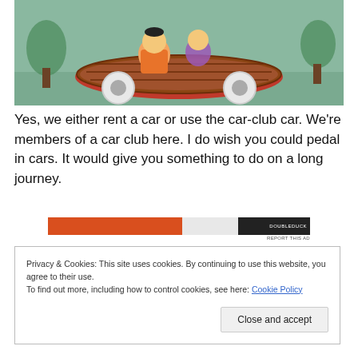[Figure (illustration): Cartoon image of Flintstones characters (Fred and Barney) riding in a prehistoric foot-powered car, from the animated TV show The Flintstones.]
Yes, we either rent a car or use the car-club car. We're members of a car club here. I do wish you could pedal in cars. It would give you something to do on a long journey.
[Figure (other): Advertisement banner with orange and dark sections. 'REPORT THIS AD' text in small print below.]
Privacy & Cookies: This site uses cookies. By continuing to use this website, you agree to their use.
To find out more, including how to control cookies, see here: Cookie Policy
Close and accept